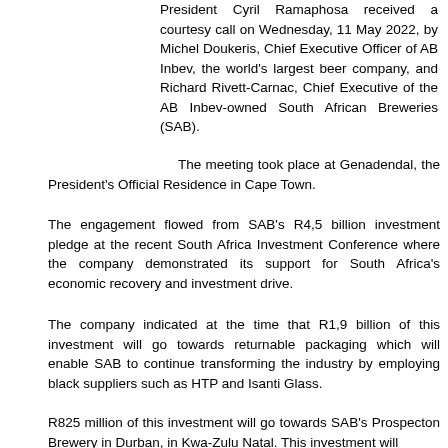President Cyril Ramaphosa received a courtesy call on Wednesday, 11 May 2022, by Michel Doukeris, Chief Executive Officer of AB Inbev, the world's largest beer company, and Richard Rivett-Carnac, Chief Executive of the AB Inbev-owned South African Breweries (SAB).
The meeting took place at Genadendal, the President's Official Residence in Cape Town.
The engagement flowed from SAB's R4,5 billion investment pledge at the recent South Africa Investment Conference where the company demonstrated its support for South Africa's economic recovery and investment drive.
The company indicated at the time that R1,9 billion of this investment will go towards returnable packaging which will enable SAB to continue transforming the industry by employing black suppliers such as HTP and Isanti Glass.
R825 million of this investment will go towards SAB's Prospecton Brewery in Durban, in Kwa-Zulu Natal. This investment will